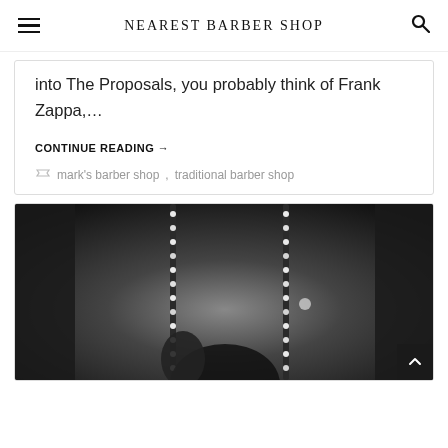NEAREST BARBER SHOP
into The Proposals, you probably think of Frank Zappa,...
CONTINUE READING →
mark's barber shop, traditional barber shop
[Figure (photo): Black and white photo of a barber shop interior showing decorative lights and equipment]